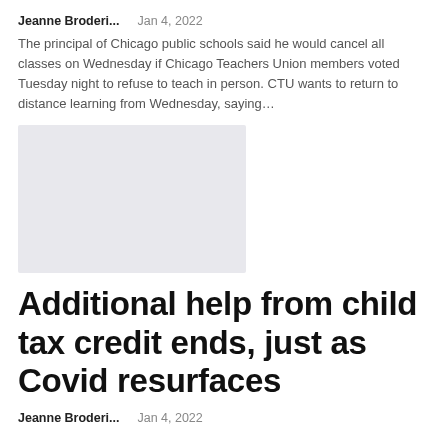Jeanne Broderi...    Jan 4, 2022
The principal of Chicago public schools said he would cancel all classes on Wednesday if Chicago Teachers Union members voted Tuesday night to refuse to teach in person. CTU wants to return to distance learning from Wednesday, saying...
[Figure (photo): Gray placeholder image]
Additional help from child tax credit ends, just as Covid resurfaces
Jeanne Broderi...    Jan 4, 2022